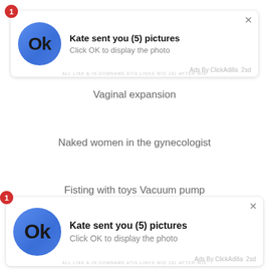[Figure (screenshot): Ad notification card: blue circle with 'Ok' text, 'Kate sent you (5) pictures', 'Click OK to display the photo', 'Ads By ClickAdilla 2sd']
Vaginal expansion
Naked women in the gynecologist
Fisting with toys Vacuum pump
[Figure (screenshot): Ad notification card: blue circle with 'Ok' text, 'Kate sent you (5) pictures', 'Click OK to display the photo', 'Ads By ClickAdilla 2sd']